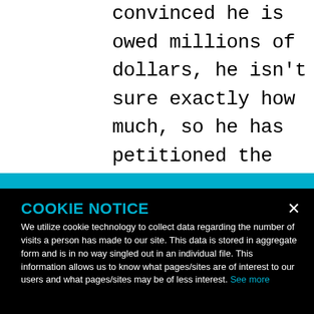convinced he is owed millions of dollars, he isn't sure exactly how much, so he has petitioned the court to order J. Artist Management to open its books to provide
COOKIE NOTICE
We utilize cookie technology to collect data regarding the number of visits a person has made to our site. This data is stored in aggregate form and is in no way singled out in an individual file. This information allows us to know what pages/sites are of interest to our users and what pages/sites may be of less interest. See more